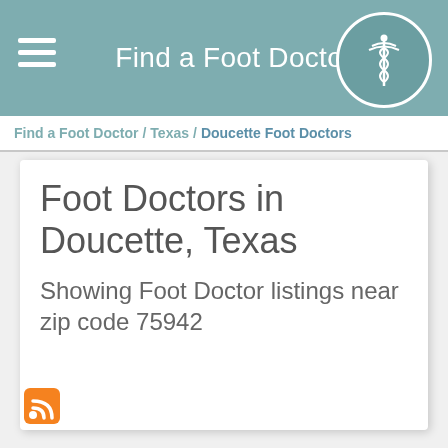Find a Foot Doctor
Find a Foot Doctor / Texas / Doucette Foot Doctors
Foot Doctors in Doucette, Texas
Showing Foot Doctor listings near zip code 75942